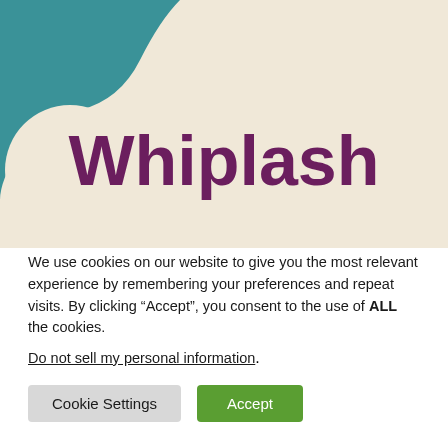[Figure (illustration): Hero banner with beige/cream background and teal decorative blob shape in the top-left corner. Large bold purple text reading 'Whiplash' centered in the lower portion of the banner.]
We use cookies on our website to give you the most relevant experience by remembering your preferences and repeat visits. By clicking “Accept”, you consent to the use of ALL the cookies.
Do not sell my personal information.
Cookie Settings   Accept